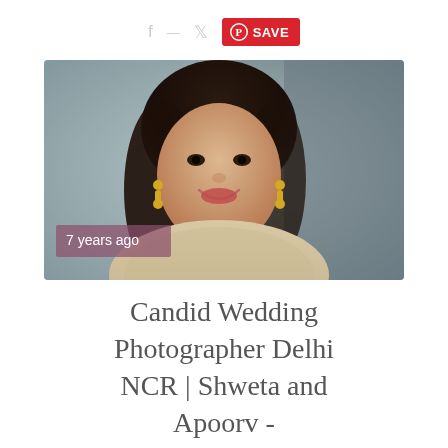f  SAVE
[Figure (photo): Portrait photo of a smiling Indian woman with dark hair, wearing gold jhumka earrings and a beige/cream embroidered outfit. Overlay text reads '7 years ago'.]
Candid Wedding Photographer Delhi NCR | Shweta and Apoorv -